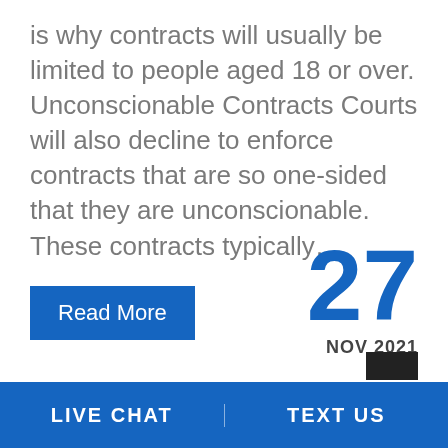is why contracts will usually be limited to people aged 18 or over. Unconscionable Contracts Courts will also decline to enforce contracts that are so one-sided that they are unconsccionable. These contracts typically…
Read More
27
NOV 2021
LIVE CHAT   TEXT US